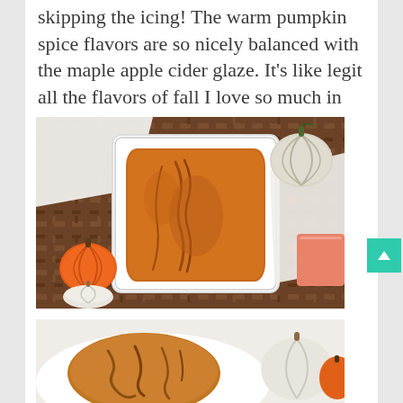skipping the icing! The warm pumpkin spice flavors are so nicely balanced with the maple apple cider glaze. It's like legit all the flavors of fall I love so much in one recipe!
[Figure (photo): Overhead view of a pumpkin bread loaf in a white scallop-edged rectangular baking dish, placed on a woven wicker surface. Decorative small orange and white pumpkins are arranged around the dish, along with a white cloth and a spatula with a pink/coral handle.]
[Figure (photo): Close-up partial view of a baked good (likely pumpkin bread or muffin) with a glaze drizzled over it, on a white plate, with decorative white and orange mini pumpkins in the background.]